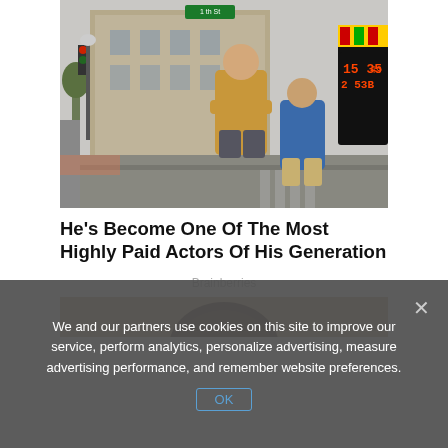[Figure (photo): Two men standing on a city street in front of a classical building. One tall man in a yellow/mustard sweatshirt with arms crossed, one shorter man in a blue sweatshirt. A film clapperboard is visible on the right with numbers 15 35 49 15 and 2 53B 3.]
He's Become One Of The Most Highly Paid Actors Of His Generation
Brainberries
[Figure (photo): Partial view of a second article image showing the top of a person's head with brown hair against a tan/beige background.]
We and our partners use cookies on this site to improve our service, perform analytics, personalize advertising, measure advertising performance, and remember website preferences.
OK